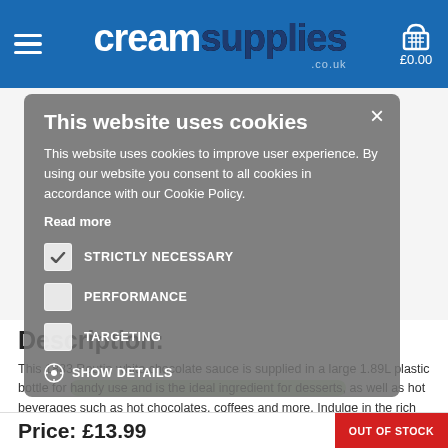creamsupplies.co.uk £0.00
[Figure (screenshot): Cookie consent overlay on creamsupplies.co.uk product page showing 1883 Chocolat Blanc white chocolate sauce bottle]
This website uses cookies
This website uses cookies to improve user experience. By using our website you consent to all cookies in accordance with our Cookie Policy.
Read more
STRICTLY NECESSARY
PERFORMANCE
TARGETING
SHOW DETAILS
Description:
This 1883 Routin white chocolate sauce is supplied in a large 1.89L plastic bottle for handy use and is the ideal ingredient for desserts, as well as hot beverages such as hot chocolates, coffees and more. Indulge in the rich taste of white
Read More..
Price: £13.99
OUT OF STOCK